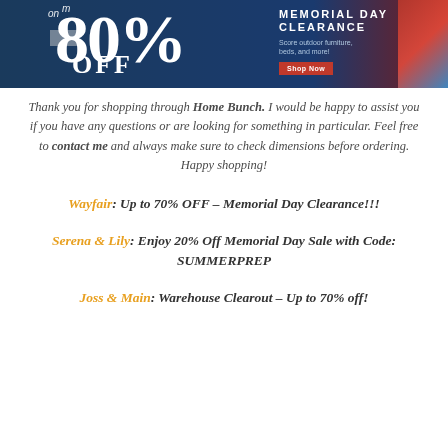[Figure (illustration): Memorial Day Clearance banner advertisement showing up to 80% OFF on outdoor furniture, beds, and more with a Shop Now button on dark navy background]
Thank you for shopping through Home Bunch. I would be happy to assist you if you have any questions or are looking for something in particular. Feel free to contact me and always make sure to check dimensions before ordering. Happy shopping!
Wayfair: Up to 70% OFF – Memorial Day Clearance!!!
Serena & Lily: Enjoy 20% Off Memorial Day Sale with Code: SUMMERPREP
Joss & Main: Warehouse Clearout – Up to 70% off!